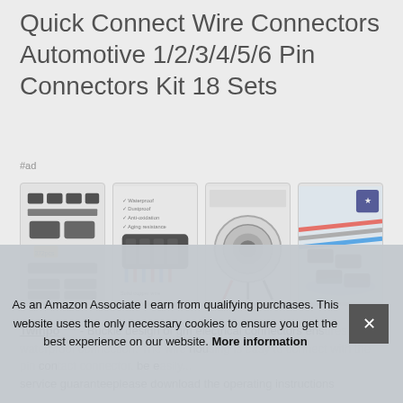Quick Connect Wire Connectors Automotive 1/2/3/4/5/6 Pin Connectors Kit 18 Sets
#ad
[Figure (photo): Four product images: connector kit parts layout, black multi-pin connector with wires, circular connector assembly with wiring harness, and connectors with colored wires in water splash]
Twinpo #ad - Buckle design of gm electrical connectors ensures a waterproof connection. The wire housing is easy to connect with the pin contact connector. be easily... service guaranteeplease download the operating instructions